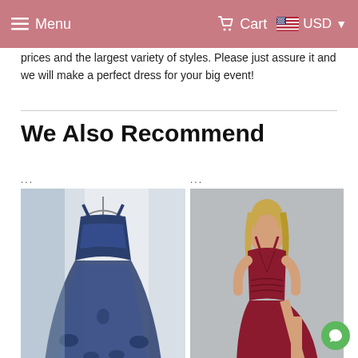Menu   Cart   USD
prices and the largest variety of styles. Please just assure it and we will make a perfect dress for your big event!
We Also Recommend
[Figure (photo): A navy blue sequined tulle ball gown hanging on a hanger against a light curtain background]
[Figure (photo): A woman wearing a burgundy/red deep-V halter neck maxi dress with a high slit, posing against a light grey background]